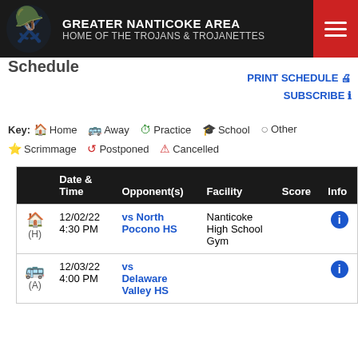GREATER NANTICOKE AREA HOME OF THE TROJANS & TROJANETTES
Schedule
PRINT SCHEDULE
SUBSCRIBE
Key: Home Away Practice School Other Scrimmage Postponed Cancelled
|  | Date & Time | Opponent(s) | Facility | Score | Info |
| --- | --- | --- | --- | --- | --- |
| (H) | 12/02/22 4:30 PM | vs North Pocono HS | Nanticoke High School Gym |  | i |
| (A) | 12/03/22 4:00 PM | vs Delaware Valley HS |  |  | i |